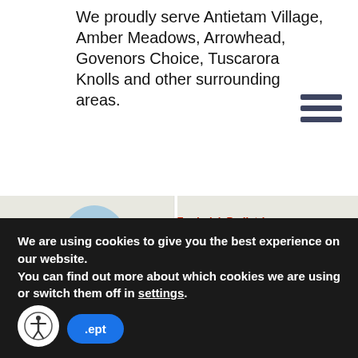We proudly serve Antietam Village, Amber Meadows, Arrowhead, Govenors Choice, Tuscarora Knolls and other surrounding areas.
[Figure (map): Google Maps screenshot showing the area around Frederick Pediatric Associates, with nearby landmarks including Wegmans, Quest Diagnostics, Flips, WORMAN INDUSTRI, AMBERS PROFESSIONAL Center, and road markers for route 15. Streets visible include Porter St and Nelson St.]
We are using cookies to give you the best experience on our website.
You can find out more about which cookies we are using or switch them off in settings.